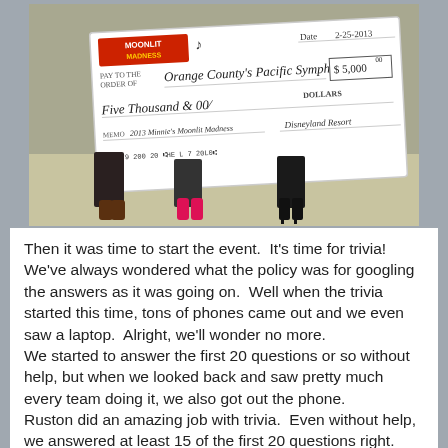[Figure (photo): People holding a large ceremonial check for $5,000 made out to Orange County's Pacific Symphony, dated 2-25-2013, from Moonlit Madness / Disneyland Resort, for 2013 Minnie's Moonlit Madness event.]
Then it was time to start the event.  It's time for trivia!  We've always wondered what the policy was for googling the answers as it was going on.  Well when the trivia started this time, tons of phones came out and we even saw a laptop.  Alright, we'll wonder no more.
We started to answer the first 20 questions or so without help, but when we looked back and saw pretty much every team doing it, we also got out the phone.
Ruston did an amazing job with trivia.  Even without help, we answered at least 15 of the first 20 questions right.

Here's a small sampling of the questions.  I'll have the full list